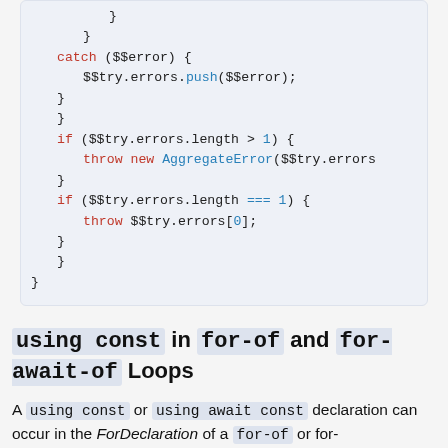[Figure (screenshot): Code block showing JavaScript try/catch and error handling snippet with colored syntax highlighting]
using const in for-of and for-await-of Loops
A using const or using await const declaration can occur in the ForDeclaration of a for-of or for-